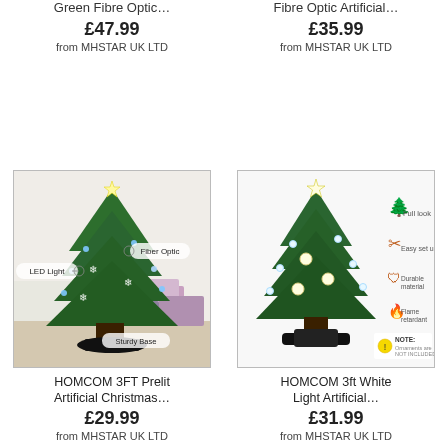Green Fibre Optic…
£47.99
from MHSTAR UK LTD
Fibre Optic Artificial…
£35.99
from MHSTAR UK LTD
[Figure (photo): HOMCOM 3FT Prelit Artificial Christmas tree with LED Light and Fiber Optic labels, Sturdy Base label, in a room with gifts]
[Figure (photo): HOMCOM 3ft White Light Artificial Christmas tree with feature icons: Full look, Easy set up, Durable material, Flame retardant, NOTE: Ornaments are NOT INCLUDED]
HOMCOM 3FT Prelit Artificial Christmas…
£29.99
from MHSTAR UK LTD
HOMCOM 3ft White Light Artificial…
£31.99
from MHSTAR UK LTD